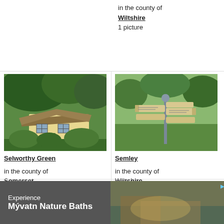in the county of Wiltshire
1 picture
[Figure (photo): Thatched yellow cottage with lush greenery - Selworthy Green, Somerset]
Selworthy Green
in the county of Somerset
4 pictures (12 comments)
[Figure (photo): Old road sign post at a crossroads in a green field - Semley, Wiltshire]
Semley
in the county of Wiltshire
2 pictures (1 comment)
[Figure (photo): Stone church with tower against cloudy sky]
[Figure (photo): Village rooftops with chimneys and countryside view]
Experience Mývatn Nature Baths